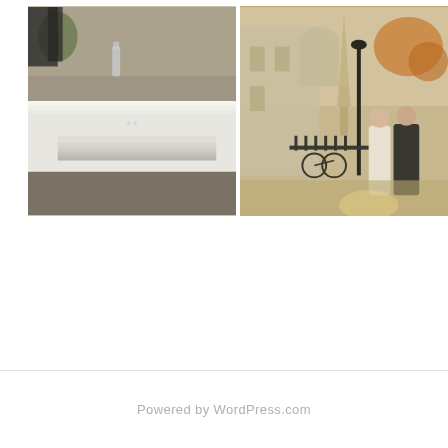[Figure (photo): A stack of white pages or a photo book lying on a textured gray surface, with a plant and glass bottle visible in the background on a table.]
[Figure (photo): A couple standing together on a Parisian street with the Eiffel Tower visible in the background, surrounded by autumn trees. The woman wears a beige outfit and the man wears a dark blazer.]
Powered by WordPress.com